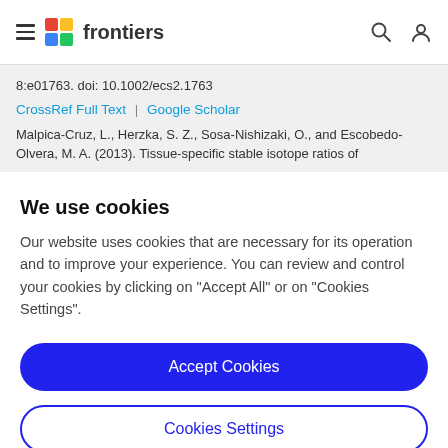frontiers
8:e01763. doi: 10.1002/ecs2.1763
CrossRef Full Text | Google Scholar
Malpica-Cruz, L., Herzka, S. Z., Sosa-Nishizaki, O., and Escobedo-Olvera, M. A. (2013). Tissue-specific stable isotope ratios of
We use cookies
Our website uses cookies that are necessary for its operation and to improve your experience. You can review and control your cookies by clicking on "Accept All" or on "Cookies Settings".
Accept Cookies
Cookies Settings